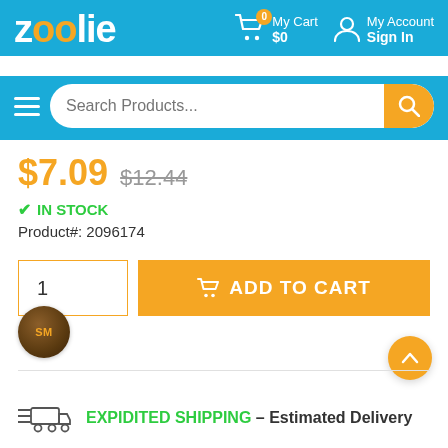[Figure (screenshot): Zoolie e-commerce website header with logo, cart icon showing 0 items and $0, and My Account/Sign In link]
[Figure (screenshot): Search bar with hamburger menu icon and orange search button]
$7.09 $12.44
✔ IN STOCK
Product#: 2096174
[Figure (screenshot): Quantity input box showing 1 and orange ADD TO CART button with cart icon]
[Figure (logo): UPS shipping logo circle icon with SM label]
EXPIDITED SHIPPING – Estimated Delivery